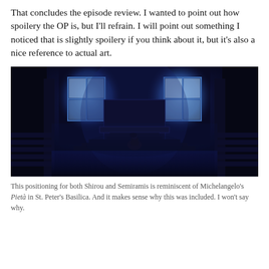That concludes the episode review. I wanted to point out how spoilery the OP is, but I'll refrain. I will point out something I noticed that is slightly spoilery if you think about it, but it's also a nice reference to actual art.
[Figure (illustration): Anime screenshot showing a dark blue-lit church or cathedral interior. A small figure (Shirou and/or Semiramis) kneels or sits at the center before an altar. Large windows glow with blue light behind the altar. Church pews are visible on the sides.]
This positioning for both Shirou and Semiramis is reminiscent of Michelangelo's Pietà in St. Peter's Basilica. And it makes sense why this was included. I won't say why.